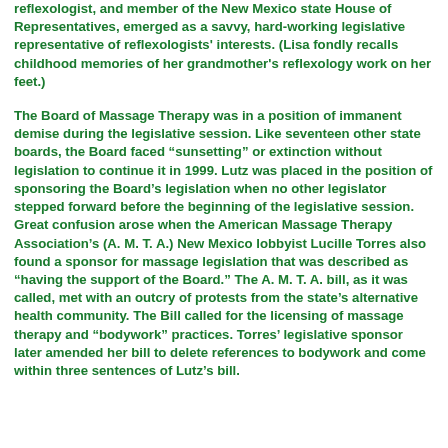reflexologist, and member of the New Mexico state House of Representatives, emerged as a savvy, hard-working legislative representative of reflexologists' interests. (Lisa fondly recalls childhood memories of her grandmother's reflexology work on her feet.)
The Board of Massage Therapy was in a position of immanent demise during the legislative session. Like seventeen other state boards, the Board faced "sunsetting" or extinction without legislation to continue it in 1999. Lutz was placed in the position of sponsoring the Board's legislation when no other legislator stepped forward before the beginning of the legislative session. Great confusion arose when the American Massage Therapy Association's (A. M. T. A.) New Mexico lobbyist Lucille Torres also found a sponsor for massage legislation that was described as "having the support of the Board." The A. M. T. A. bill, as it was called, met with an outcry of protests from the state's alternative health community. The Bill called for the licensing of massage therapy and "bodywork" practices. Torres' legislative sponsor later amended her bill to delete references to bodywork and come within three sentences of Lutz's bill.